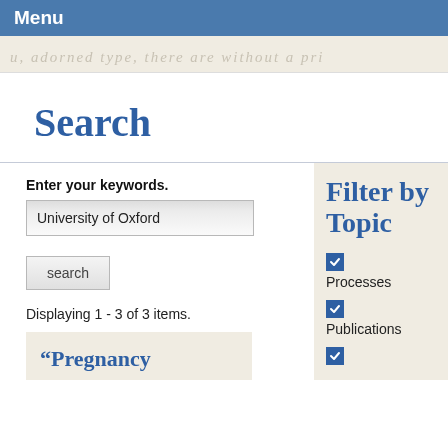Menu
[Figure (illustration): Decorative handwriting/script text banner in light grey/beige background]
Search
Enter your keywords.
University of Oxford
search
Displaying 1 - 3 of 3 items.
“Pregnancy
Filter by Topic
Processes
Publications